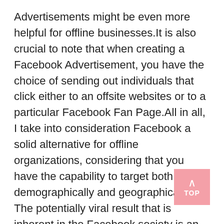Advertisements might be even more helpful for offline businesses.It is also crucial to note that when creating a Facebook Advertisement, you have the choice of sending out individuals that click either to an offsite websites or to a particular Facebook Fan Page.All in all, I take into consideration Facebook a solid alternative for offline organizations, considering that you have the capability to target both demographically and geographically. The potentially viral result that is inherent in the Facebook society is an additional good factor for including Facebook in to your on the internet advertising mix.
Finally, if you are making use of WordPress to develop your internet site to blog site, it is rel very easy to integrate WordPress Posts, Face Follower Page Posts, Twitter Tweets, and perhaps
[Figure (other): Pink/rose colored button with upward arrow and 'TOP' label, used as a scroll-to-top navigation element]